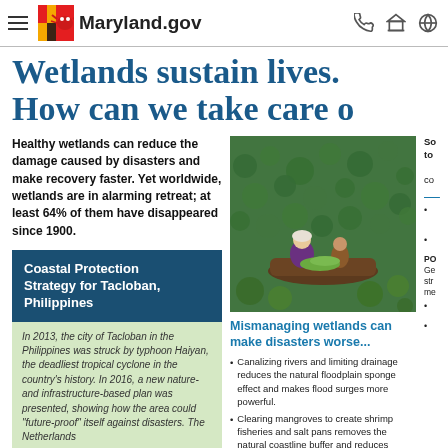Maryland.gov
Wetlands sustain lives. How can we take care o
Healthy wetlands can reduce the damage caused by disasters and make recovery faster. Yet worldwide, wetlands are in alarming retreat; at least 64% of them have disappeared since 1900.
[Figure (photo): Two people in a small wooden boat among water lily pads on a wetland]
Coastal Protection Strategy for Tacloban, Philippines
In 2013, the city of Tacloban in the Philippines was struck by typhoon Haiyan, the deadliest tropical cyclone in the country's history. In 2016, a new nature- and infrastructure-based plan was presented, showing how the area could "future-proof" itself against disasters. The Netherlands
Mismanaging wetlands can make disasters worse...
Canalizing rivers and limiting drainage reduces the natural floodplain sponge effect and makes flood surges more powerful.
Clearing mangroves to create shrimp fisheries and salt pans removes the natural coastline buffer and reduces carbon storage.
Mining coral reefs can leave the shoreline exposed to stronger than normal waves.
Draining or filling in wetlands for